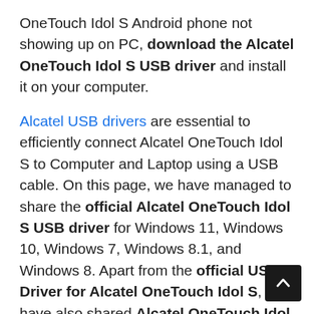OneTouch Idol S Android phone not showing up on PC, download the Alcatel OneTouch Idol S USB driver and install it on your computer.
Alcatel USB drivers are essential to efficiently connect Alcatel OneTouch Idol S to Computer and Laptop using a USB cable. On this page, we have managed to share the official Alcatel OneTouch Idol S USB driver for Windows 11, Windows 10, Windows 7, Windows 8.1, and Windows 8. Apart from the official USB Driver for Alcatel OneTouch Idol S, we have also shared Alcatel OneTouch Idol S ADB interface drivers and Fastboot drivers.